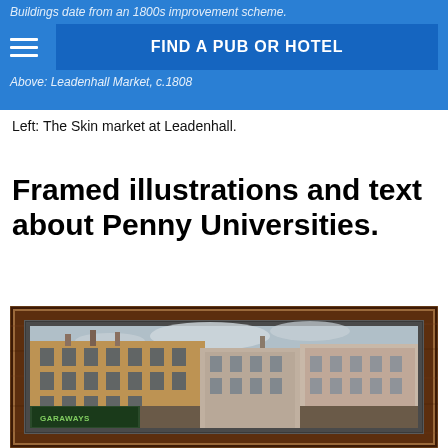Buildings date from an 1800s improvement scheme. Above: Leadenhall Market, c.1808 | FIND A PUB OR HOTEL
Left: The Skin market at Leadenhall.
Framed illustrations and text about Penny Universities.
[Figure (photo): A framed oil painting or illustration of historic London street scene, showing tall multi-storey Georgian/Victorian brick buildings. A shop frontage reads 'GARAWAYS' at street level. The image has a dark wooden frame with a grey inner mount.]